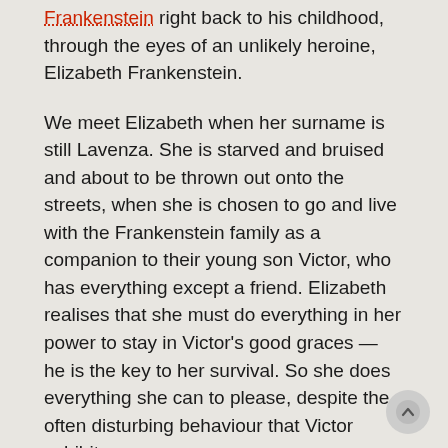Frankenstein right back to his childhood, through the eyes of an unlikely heroine, Elizabeth Frankenstein.
We meet Elizabeth when her surname is still Lavenza. She is starved and bruised and about to be thrown out onto the streets, when she is chosen to go and live with the Frankenstein family as a companion to their young son Victor, who has everything except a friend. Elizabeth realises that she must do everything in her power to stay in Victor's good graces — he is the key to her survival. So she does everything she can to please, despite the often disturbing behaviour that Victor exhibits.
Years later, when Victor goes missing, Elizabeth goes to track him down, along with her companion Justine. Her search leads her down a dark trail, where she discovers secret laboratories and unidentifiable body parts.
Readers that know the story won't find it any less